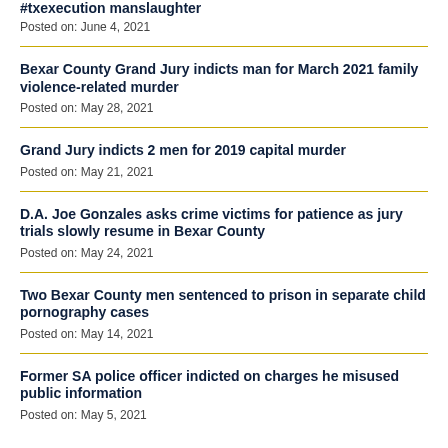#txexecution manslaughter
Posted on: June 4, 2021
Bexar County Grand Jury indicts man for March 2021 family violence-related murder
Posted on: May 28, 2021
Grand Jury indicts 2 men for 2019 capital murder
Posted on: May 21, 2021
D.A. Joe Gonzales asks crime victims for patience as jury trials slowly resume in Bexar County
Posted on: May 24, 2021
Two Bexar County men sentenced to prison in separate child pornography cases
Posted on: May 14, 2021
Former SA police officer indicted on charges he misused public information
Posted on: May 5, 2021